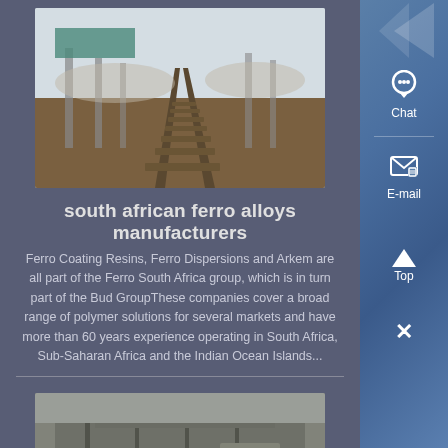[Figure (photo): Industrial conveyor belt or railway tracks at a mining/industrial facility, viewed from low angle perspective, with steel structures visible against a light sky]
south african ferro alloys manufacturers
Ferro Coating Resins, Ferro Dispersions and Arkem are all part of the Ferro South Africa group, which is in turn part of the Bud GroupThese companies cover a broad range of polymer solutions for several markets and have more than 60 years experience operating in South Africa, Sub-Saharan Africa and the Indian Ocean Islands...
[Figure (photo): Industrial mining or processing facility with scaffolding and heavy equipment structures against a concrete wall backdrop]
aluminino thermic process for ferro chrome production